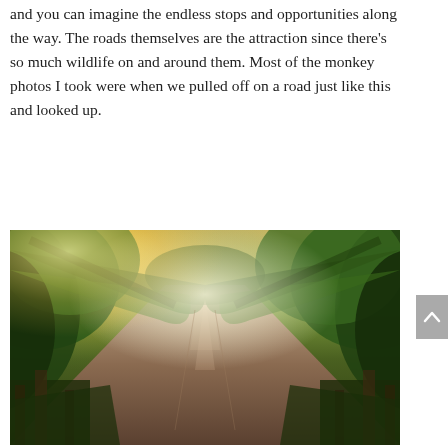and you can imagine the endless stops and opportunities along the way. The roads themselves are the attraction since there’s so much wildlife on and around them. Most of the monkey photos I took were when we pulled off on a road just like this and looked up.
[Figure (photo): A scenic road flanked by tall trees forming a natural canopy tunnel. Sunlight streams in from the upper left, illuminating green foliage. The road stretches into the distance with a warm atmospheric haze.]